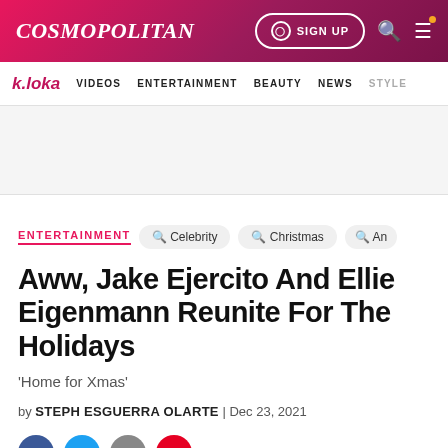COSMOPOLITAN | SIGN UP
k.loka VIDEOS ENTERTAINMENT BEAUTY NEWS STYLE
ENTERTAINMENT
Aww, Jake Ejercito And Ellie Eigenmann Reunite For The Holidays
'Home for Xmas'
by STEPH ESGUERRA OLARTE | Dec 23, 2021